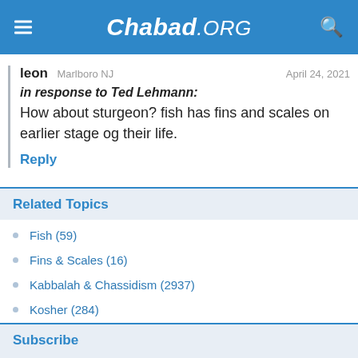Chabad.ORG
leon Marlboro NJ
April 24, 2021
in response to Ted Lehmann:
How about sturgeon? fish has fins and scales on earlier stage og their life.
Reply
Related Topics
Fish (59)
Fins & Scales (16)
Kabbalah & Chassidism (2937)
Kosher (284)
Subscribe